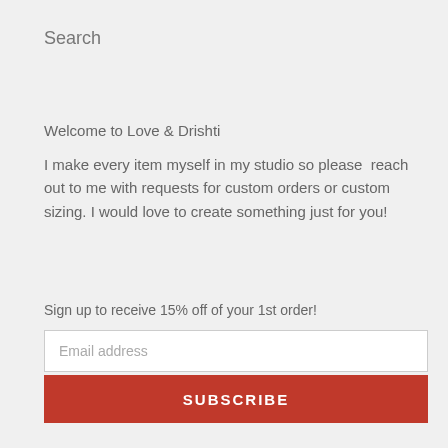Search
Welcome to Love & Drishti
I make every item myself in my studio so please reach out to me with requests for custom orders or custom sizing. I would love to create something just for you!
Sign up to receive 15% off of your 1st order!
Email address
SUBSCRIBE